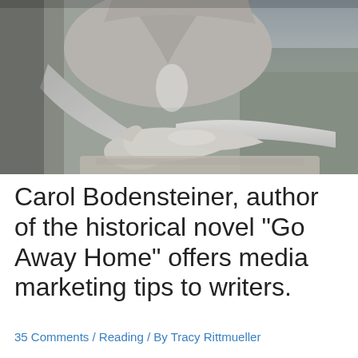[Figure (photo): Black and white photograph showing a person's torso and hands clasped together resting on what appears to be a surface, with a rocky or natural background]
Carol Bodensteiner, author of the historical novel "Go Away Home" offers media marketing tips to writers.
35 Comments / Reading / By Tracy Rittmueller